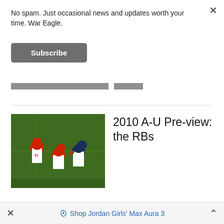No spam. Just occasional news and updates worth your time. War Eagle.
Subscribe
[Figure (photo): Football game action photo showing players in red and white uniforms tackling a player on a green field]
2010 A-U Pre-view: the RBs
× Shop Jordan Girls' Max Aura 3 ^